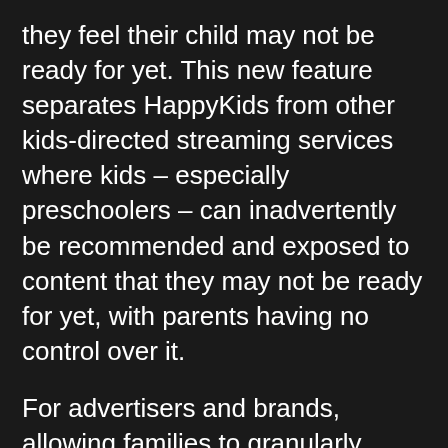they feel their child may not be ready for yet. This new feature separates HappyKids from other kids-directed streaming services where kids – especially preschoolers – can inadvertently be recommended and exposed to content that they may not be ready for yet, with parents having no control over it.
For advertisers and brands, allowing families to granularly curate their viewing experience ensures more appropriate and suitable alignment between content and campaigns, eliminating irrelevant ads from being served and reducing waste. In turn, this increases engagement, helps drive brand retention and maximizes streaming and OTT spend